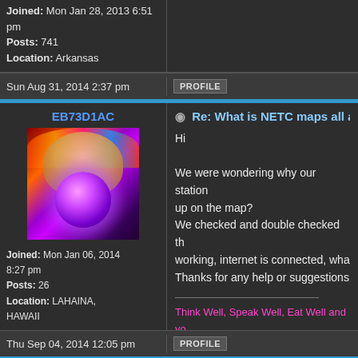Joined: Mon Jan 28, 2013 6:51 pm
Posts: 741
Location: Arkansas
Sun Aug 31, 2014 2:37 pm
PROFILE
EB73D1AC
[Figure (photo): Avatar image of a colorful figure holding a glowing purple orb]
Joined: Mon Jan 06, 2014 8:27 pm
Posts: 26
Location: LAHAINA, HAWAII
Re: What is NETC maps all about
Hi
We were wondering why our station is not showing up on the map?
We checked and double checked the station is working, internet is connected, wha...
Thanks for any help or suggestions
Think Well, Speak Well, Eat Well and yo...
Keep taking your Potassium iodide, Hol...
LOVE and LIGHT
LIGHTSTORM
Thu Sep 04, 2014 12:05 pm
PROFILE